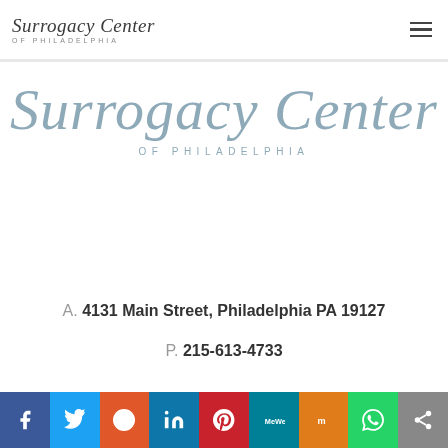[Figure (logo): Surrogacy Center of Philadelphia logo in header - script font with subtitle]
[Figure (logo): Large Surrogacy Center of Philadelphia logo centered on page in light blue-grey color]
A. 4131 Main Street, Philadelphia PA 19127
P. 215-613-4733
[Figure (infographic): Social media sharing bar with Facebook, Twitter, Reddit, LinkedIn, Pinterest, MeWe, Mix, WhatsApp, and Share buttons]